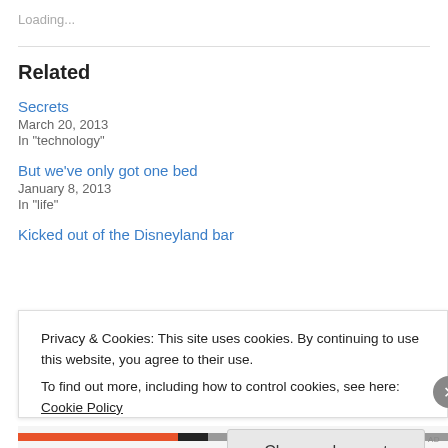Loading...
Related
Secrets
March 20, 2013
In "technology"
But we've only got one bed
January 8, 2013
In "life"
Kicked out of the Disneyland bar
Privacy & Cookies: This site uses cookies. By continuing to use this website, you agree to their use.
To find out more, including how to control cookies, see here: Cookie Policy
Close and accept